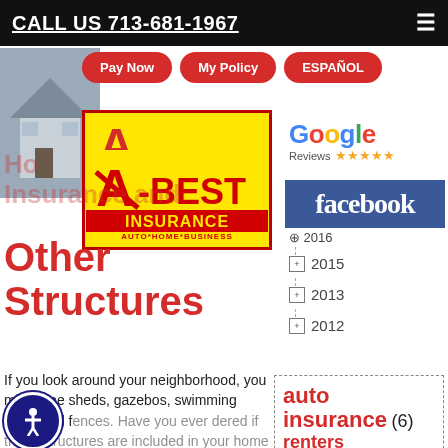CALL US 713-681-1967
[Figure (logo): A-Best Insurance logo - yellow background with red text AUTO*HOME*BUSINESS]
[Figure (logo): Google Reviews logo with 5 stars]
[Figure (logo): Facebook logo - white text on blue background]
Home Insurance and Other Structures
If you look around your neighborhood, you might see sheds, gazebos, swimming pools and fences. Have you ever wondered if those structures are included in your home insurance policy?
2015
2013
2012
auto insurance (6)
renters insurance (4)
insurance (4)